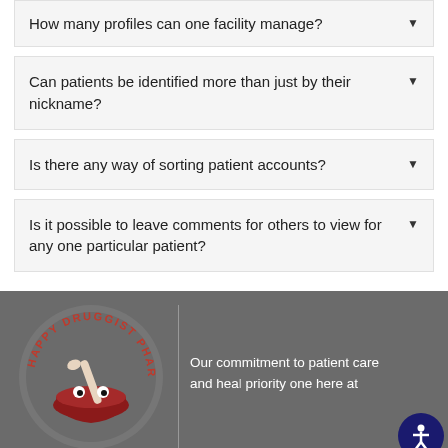How many profiles can one facility manage?
Can patients be identified more than just by their nickname?
Is there any way of sorting patient accounts?
Is it possible to leave comments for others to view for any one particular patient?
[Figure (logo): Happy Druggist Pharmacy circular logo with mortar and pestle in dark red/maroon]
Our commitment to patient care and hea... priority one here at